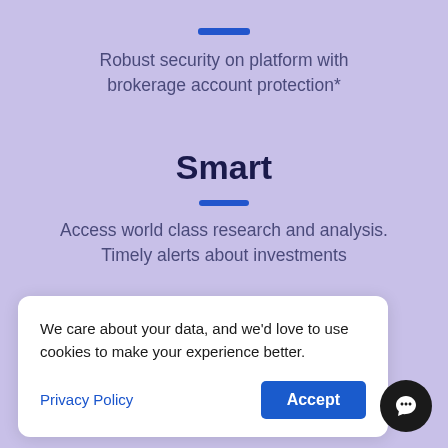Robust security on platform with brokerage account protection*
Smart
Access world class research and analysis. Timely alerts about investments
Sign Up For Free
We care about your data, and we'd love to use cookies to make your experience better.
Privacy Policy
Accept